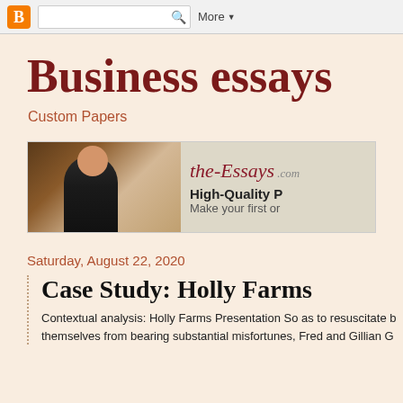Blogger | Search | More
Business essays
Custom Papers
[Figure (illustration): Advertisement banner for the-Essays.com showing a female student with glasses and dark outfit holding books, with text 'the-Essays .com High-Quality P... Make your first or...']
Saturday, August 22, 2020
Case Study: Holly Farms
Contextual analysis: Holly Farms Presentation So as to resuscitate b themselves from bearing substantial misfortunes, Fred and Gillian G